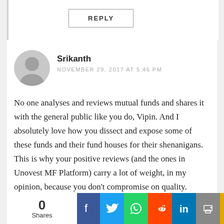REPLY
Srikanth
NOVEMBER 29, 2017 AT 5:46 PM
No one analyses and reviews mutual funds and shares it with the general public like you do, Vipin. And I absolutely love how you dissect and expose some of these funds and their fund houses for their shenanigans. This is why your positive reviews (and the ones in Unovest MF Platform) carry a lot of weight, in my opinion, because you don't compromise on quality.